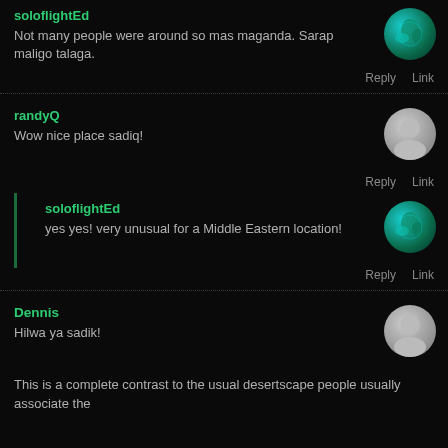soloflightEd
Not many people were around so mas maganda. Sarap maligo talaga.
Reply   Link
randyQ
Wow nice place sadiq!
Reply   Link
soloflightEd
yes yes! very unusual for a Middle Eastern location!
Reply   Link
Dennis
Hilwa ya sadik!
This is a complete contrast to the usual desertscape people usually associate the